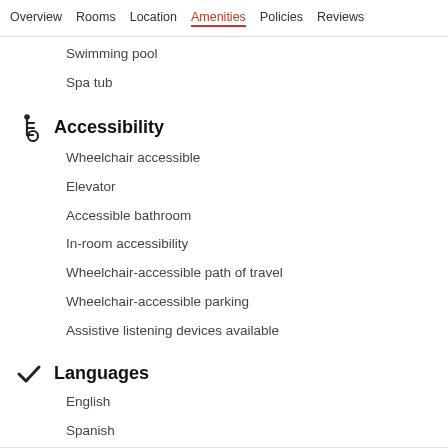Overview  Rooms  Location  Amenities  Policies  Reviews
Swimming pool
Spa tub
Accessibility
Wheelchair accessible
Elevator
Accessible bathroom
In-room accessibility
Wheelchair-accessible path of travel
Wheelchair-accessible parking
Assistive listening devices available
Languages
English
Spanish